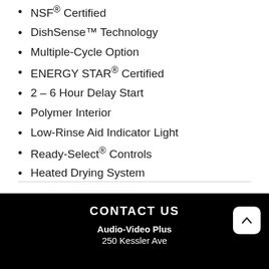NSF® Certified
DishSense™ Technology
Multiple-Cycle Option
ENERGY STAR® Certified
2 – 6 Hour Delay Start
Polymer Interior
Low-Rinse Aid Indicator Light
Ready-Select® Controls
Heated Drying System
CONTACT US
Audio-Video Plus
250 Kessler Ave